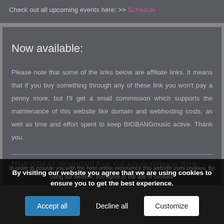Check out all upcoming events here: >> Schedule
Now available:
Please note that some of the links below are affiliate links. It means that if you buy something through any of these link you won't pay a penny more, but I'll get a small commission which supports the maintenance of this website like domain and webhosting costs, as well as time and effort spent to keep BIGBANGmusic active. Thank you.
[THE GREAT SEUNGRI] First Full Album Release 2018
By visiting our website you agree that we are using cookies to ensure you to get the best experience.
In order to provide you with the best online experience this website uses cookies. By using our website, you agree to our use of cookies.